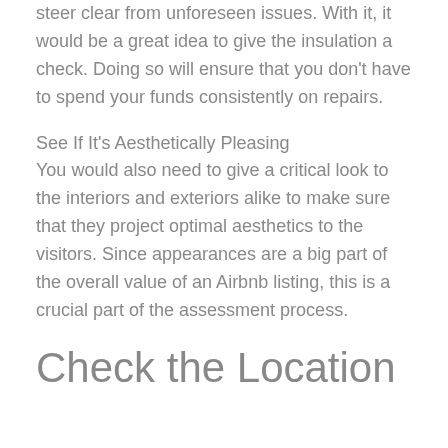steer clear from unforeseen issues. With it, it would be a great idea to give the insulation a check. Doing so will ensure that you don't have to spend your funds consistently on repairs.
See If It's Aesthetically Pleasing
You would also need to give a critical look to the interiors and exteriors alike to make sure that they project optimal aesthetics to the visitors. Since appearances are a big part of the overall value of an Airbnb listing, this is a crucial part of the assessment process.
Check the Location